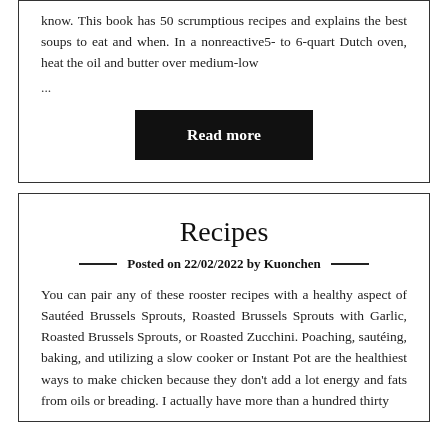know. This book has 50 scrumptious recipes and explains the best soups to eat and when. In a nonreactive5- to 6-quart Dutch oven, heat the oil and butter over medium-low
...
Read more
Recipes
Posted on 22/02/2022 by Kuonchen
You can pair any of these rooster recipes with a healthy aspect of Sautéed Brussels Sprouts, Roasted Brussels Sprouts with Garlic, Roasted Brussels Sprouts, or Roasted Zucchini. Poaching, sautéing, baking, and utilizing a slow cooker or Instant Pot are the healthiest ways to make chicken because they don't add a lot energy and fats from oils or breading. I actually have more than a hundred thirty